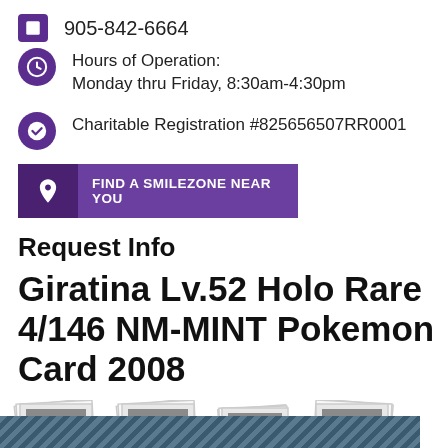905-842-6664
Hours of Operation:
Monday thru Friday, 8:30am-4:30pm
Charitable Registration #825656507RR0001
[Figure (infographic): Purple button banner with location pin icon and text: FIND A SMILEZONE NEAR YOU]
Request Info
Giratina Lv.52 Holo Rare 4/146 NM-MINT Pokemon Card 2008
[Figure (photo): Four polaroid-style photo placeholders in a row]
[Figure (other): Dark blue diagonal striped bar at the bottom of the page]